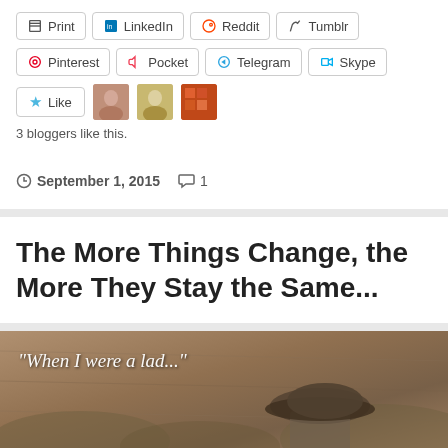[Figure (screenshot): Social share buttons row 1: Print, LinkedIn, Reddit, Tumblr]
[Figure (screenshot): Social share buttons row 2: Pinterest, Pocket, Telegram, Skype]
[Figure (screenshot): Like button with star icon and 3 blogger avatars]
3 bloggers like this.
September 1, 2015   1
The More Things Change, the More They Stay the Same...
[Figure (photo): Sepia-toned vintage photo with text overlay: "When I were a lad..." and a boy wearing a flat cap]